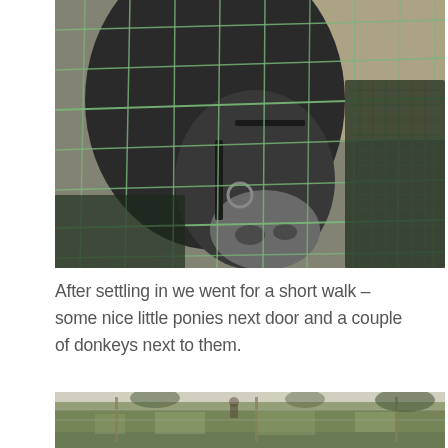[Figure (photo): Close-up photo of a dark horse or donkey pressing its nose through a wire/net fence. The animal's face is partially covered by a halter. Green wire fencing and dark netting are visible in the foreground.]
After settling in we went for a short walk – some nice little ponies next door and a couple of donkeys next to them.
[Figure (photo): Partial view of a green grassy outdoor area with a fence visible, and a small figure in the background. The bottom portion of the image is cut off.]